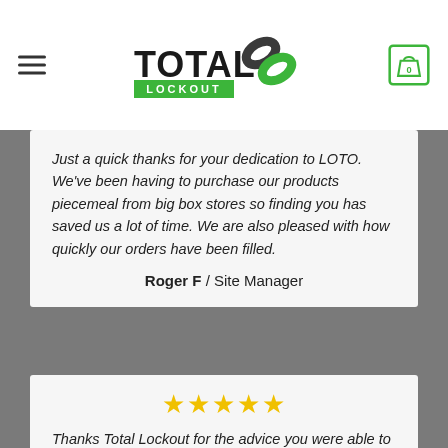[Figure (logo): Total Lockout logo with chain link graphic in green/black]
Just a quick thanks for your dedication to LOTO. We've been having to purchase our products piecemeal from big box stores so finding you has saved us a lot of time. We are also pleased with how quickly our orders have been filled.
Roger F / Site Manager
[Figure (other): Five gold/yellow star rating]
Thanks Total Lockout for the advice you were able to give us when we called in. Our company is new to Lockout Tagout procedures and your rep knew exactly what product to recommend without overselling. First class!